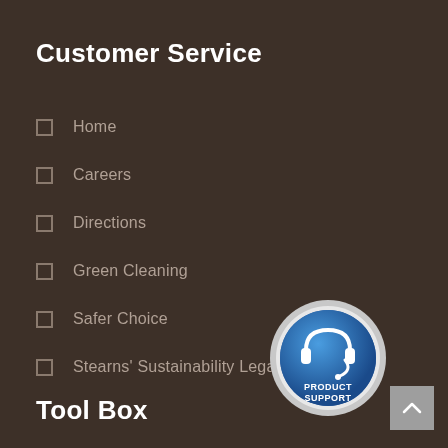Customer Service
Home
Careers
Directions
Green Cleaning
Safer Choice
Stearns' Sustainability Legacy
[Figure (logo): Product Support badge: circular blue button with headset icon and text PRODUCT SUPPORT]
Tool Box